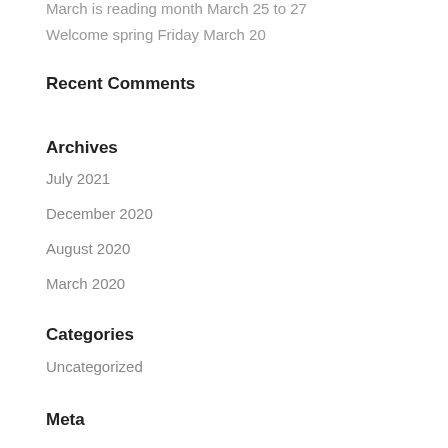March is reading month March 25 to 27
Welcome spring Friday March 20
Recent Comments
Archives
July 2021
December 2020
August 2020
March 2020
Categories
Uncategorized
Meta